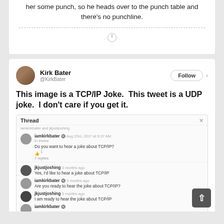her some punch, so he heads over to the punch table and there's no punchline.
[Figure (screenshot): Tweet by Kirk Bater (@KirkBater) with embedded thread screenshot. Tweet text: 'This image is a TCP/IP Joke. This tweet is a UDP joke. I don't care if you get it.' The embedded thread shows a Slack/messaging thread about TCP/IP jokes between iamkirkbater and jkjustjoshing.]